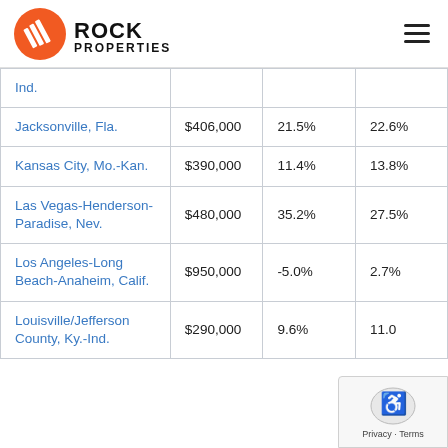Rock Properties
| City | Price | YoY% | Other% |
| --- | --- | --- | --- |
| Ind. |  |  |  |
| Jacksonville, Fla. | $406,000 | 21.5% | 22.6% |
| Kansas City, Mo.-Kan. | $390,000 | 11.4% | 13.8% |
| Las Vegas-Henderson-Paradise, Nev. | $480,000 | 35.2% | 27.5% |
| Los Angeles-Long Beach-Anaheim, Calif. | $950,000 | -5.0% | 2.7% |
| Louisville/Jefferson County, Ky.-Ind. | $290,000 | 9.6% | 11.0 |